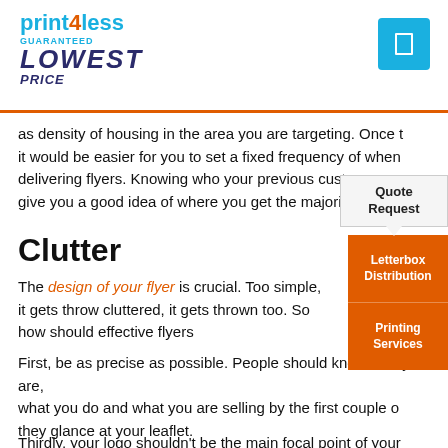print4less GUARANTEED LOWEST PRICE
as density of housing in the area you are targeting. Once t it would be easier for you to set a fixed frequency of when delivering flyers. Knowing who your previous customers ar give you a good idea of where you get the majority of your
Clutter
The design of your flyer is crucial. Too simple, it gets throw cluttered, it gets thrown too. So how should effective flyers
First, be as precise as possible. People should know who you are, what you do and what you are selling by the first couple of they glance at your leaflet.
Second, if you are using images, use only the best or don't at all. Pictures can be very captivating, and it will draw people's attention to your leaflet, but if they are poor quality or not relevant to the item you're promoting this will have a negative effect. Check this out
Thirdly, your logo shouldn't be the main focal point of your